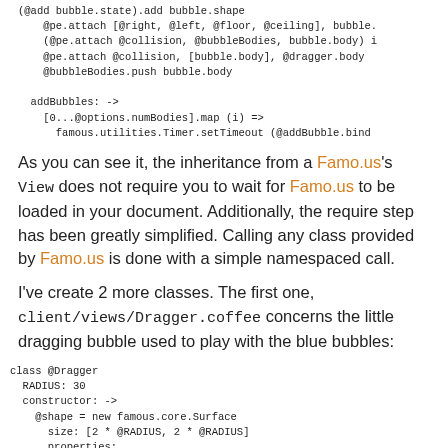(@add bubble.state).add bubble.shape
    @pe.attach [@right, @left, @floor, @ceiling], bubble.
    (@pe.attach @collision, @bubbleBodies, bubble.body) i
    @pe.attach @collision, [bubble.body], @dragger.body
    @bubbleBodies.push bubble.body

  addBubbles: ->
    [0...@options.numBodies].map (i) =>
      famous.utilities.Timer.setTimeout (@addBubble.bind
As you can see it, the inheritance from a Famo.us's View does not require you to wait for Famo.us to be loaded in your document. Additionally, the require step has been greatly simplified. Calling any class provided by Famo.us is done with a simple namespaced call.
I've create 2 more classes. The first one, client/views/Dragger.coffee concerns the little dragging bubble used to play with the blue bubbles:
class @Dragger
  RADIUS: 30
  constructor: ->
    @shape = new famous.core.Surface
      size: [2 * @RADIUS, 2 * @RADIUS]
      properties: